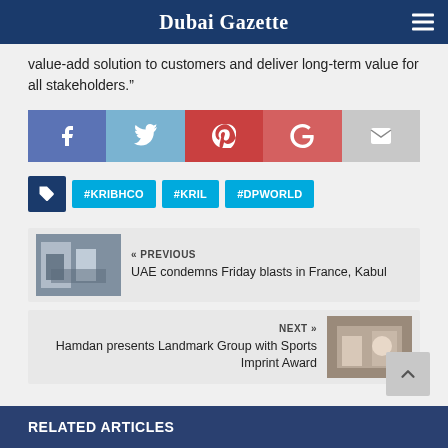Dubai Gazette
value-add solution to customers and deliver long-term value for all stakeholders.”
[Figure (infographic): Social share buttons: Facebook, Twitter, Pinterest, Google+, Email]
#KRIBHCO
#KRIL
#DPWORLD
« PREVIOUS
UAE condemns Friday blasts in France, Kabul
NEXT »
Hamdan presents Landmark Group with Sports Imprint Award
RELATED ARTICLES